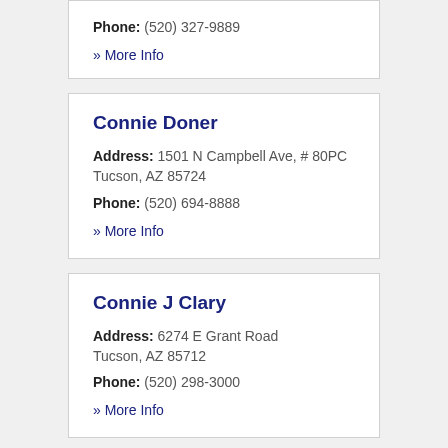Phone: (520) 327-9889
» More Info
Connie Doner
Address: 1501 N Campbell Ave, # 80PC
Tucson, AZ 85724
Phone: (520) 694-8888
» More Info
Connie J Clary
Address: 6274 E Grant Road
Tucson, AZ 85712
Phone: (520) 298-3000
» More Info